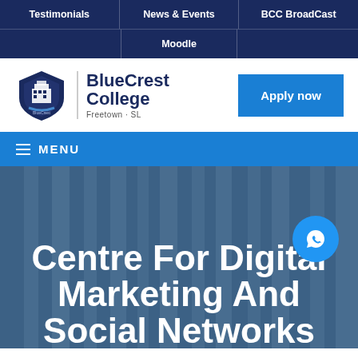Testimonials | News & Events | BCC BroadCast | Moodle
[Figure (logo): BlueCrest College shield logo with text BlueCrest College Freetown SL and Apply now button]
≡ MENU
Centre For Digital Marketing And Social Networks